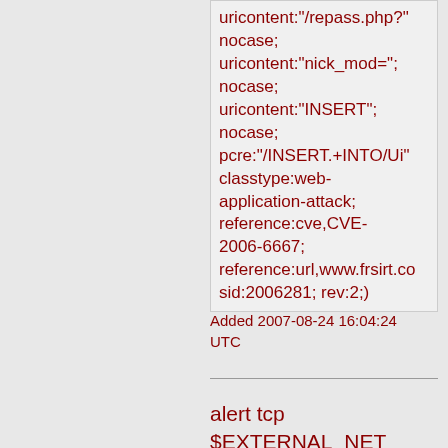uricontent:"/repass.php?" nocase; uricontent:"nick_mod="; nocase; uricontent:"INSERT"; nocase; pcre:"/INSERT.+INTO/Ui" classtype:web-application-attack; reference:cve,CVE-2006-6667; reference:url,www.frsirt.co sid:2006281; rev:2;)
Added 2007-08-24 16:04:24 UTC
alert tcp $EXTERNAL_NET any ->